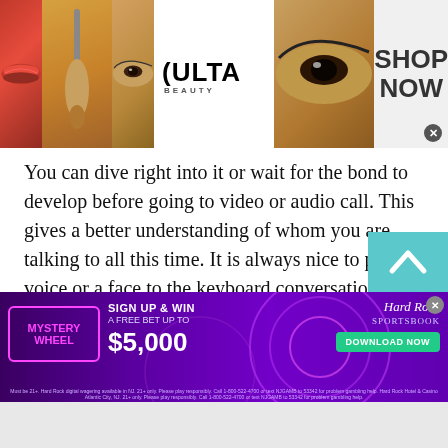[Figure (photo): Ulta Beauty advertisement banner with makeup photos (lips, brush, eye), Ulta Beauty logo, and SHOP NOW text]
You can dive right into it or wait for the bond to develop before going to video or audio call. This gives a better understanding of whom you are talking to all this time. It is always nice to put a voice or a face to the keyboard conversations. The website allows you to share the pictures as well. They can make friends to become healthy. You can let your friend know that you are strolling a park with a photo attached. Moreover you can always Fijian Chat for Free.
[Figure (screenshot): Hard Rock Sportsbook advertisement - Mystery Wheel, Sign Up & Win a Free Bet Up To $5,000, Download Now button]